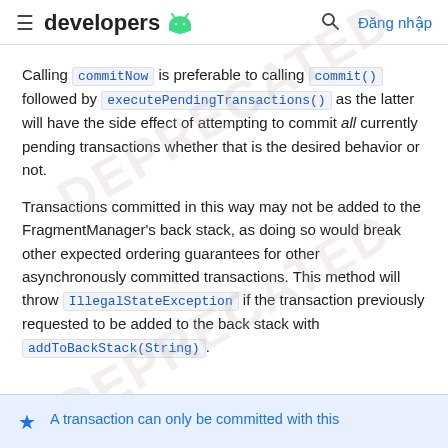≡  developers 🤖   🔍   Đăng nhập
Calling commitNow is preferable to calling commit() followed by executePendingTransactions() as the latter will have the side effect of attempting to commit all currently pending transactions whether that is the desired behavior or not.
Transactions committed in this way may not be added to the FragmentManager's back stack, as doing so would break other expected ordering guarantees for other asynchronously committed transactions. This method will throw IllegalStateException if the transaction previously requested to be added to the back stack with addToBackStack(String).
A transaction can only be committed with this